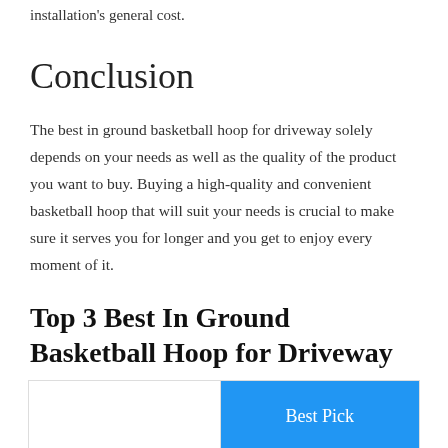installation's general cost.
Conclusion
The best in ground basketball hoop for driveway solely depends on your needs as well as the quality of the product you want to buy. Buying a high-quality and convenient basketball hoop that will suit your needs is crucial to make sure it serves you for longer and you get to enjoy every moment of it.
Top 3 Best In Ground Basketball Hoop for Driveway
|  | Best Pick |
| --- | --- |
|  | Best Pick |